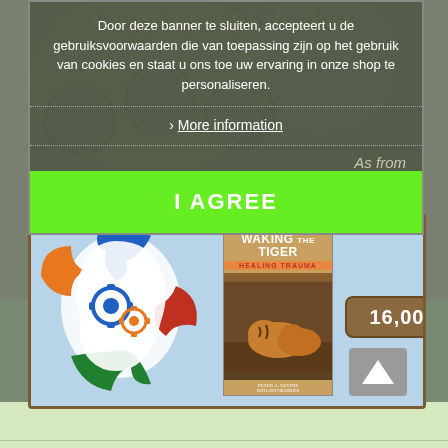Cupping cups in glass
Door deze banner te sluiten, accepteert u de gebruiksvoorwaarden die van toepassing zijn op het gebruik van cookies en staat u ons toe uw ervaring in onze shop te personaliseren.
> More information
As from
I AGREE
[Figure (illustration): E-commerce product page screenshot showing a book 'Waking the Tiger - Healing Trauma' by Peter A. Levine with puzzle-head brain graphic background and price button showing 16,00€]